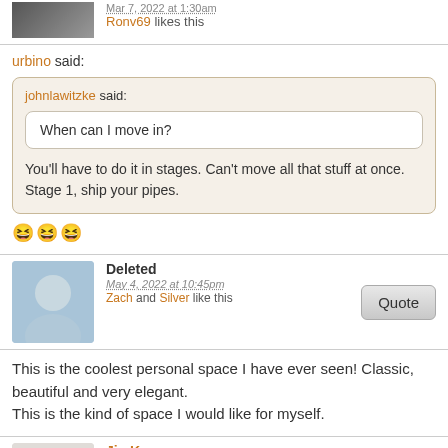Mar 7, 2022 at 1:30am
Ronv69 likes this
urbino said:
johnlawitzke said:
When can I move in?
You'll have to do it in stages.  Can't move all that stuff at once. Stage 1, ship your pipes.
😆😆😆
Deleted
May 4, 2022 at 10:45pm
Zach and Silver like this
This is the coolest personal space I have ever seen! Classic, beautiful and very elegant.
This is the kind of space I would like for myself.
JimK
New Member
May 5, 2022 at 5:04am
Boy, what a space! That would be just the spot I'd love to have.